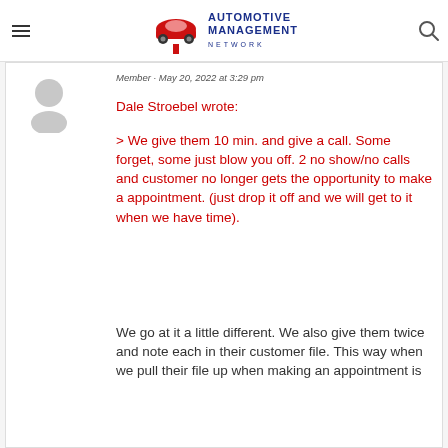Automotive Management Network
Member · May 20, 2022 at 3:29 pm
Dale Stroebel wrote:
> We give them 10 min. and give a call. Some forget, some just blow you off. 2 no show/no calls and customer no longer gets the opportunity to make a appointment. (just drop it off and we will get to it when we have time).
We go at it a little different. We also give them twice and note each in their customer file. This way when we pull their file up when making an appointment is